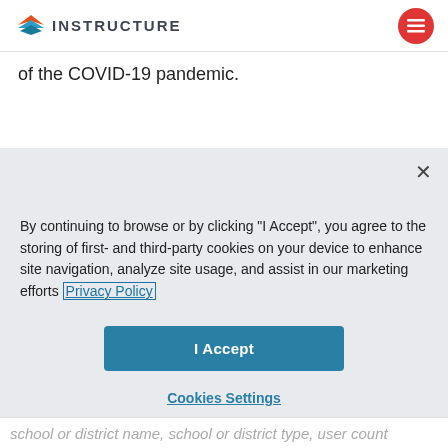INSTRUCTURE
of the COVID-19 pandemic.
By continuing to browse or by clicking "I Accept", you agree to the storing of first- and third-party cookies on your device to enhance site navigation, analyze site usage, and assist in our marketing efforts Privacy Policy
I Accept
Cookies Settings
school or district name, school or district type, user count